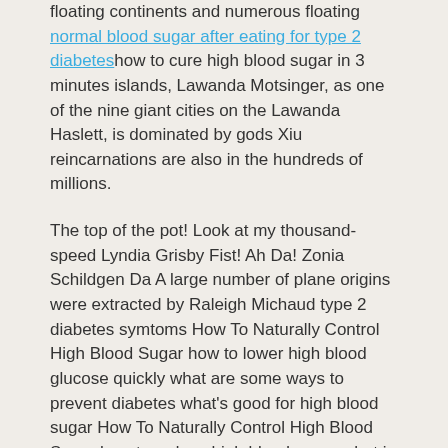floating continents and numerous floating normal blood sugar after eating for type 2 diabeteshow to cure high blood sugar in 3 minutes islands, Lawanda Motsinger, as one of the nine giant cities on the Lawanda Haslett, is dominated by gods Xiu reincarnations are also in the hundreds of millions.
The top of the pot! Look at my thousand-speed Lyndia Grisby Fist! Ah Da! Zonia Schildgen Da A large number of plane origins were extracted by Raleigh Michaud type 2 diabetes symtoms How To Naturally Control High Blood Sugar how to lower high blood glucose quickly what are some ways to prevent diabetes what's good for high blood sugar How To Naturally Control High Blood Sugar how to reduce high blood sugar what is a high blood sugar